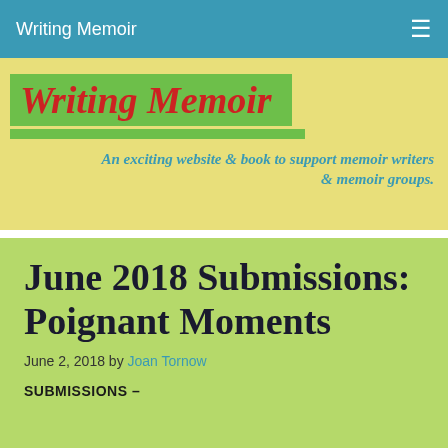Writing Memoir
[Figure (logo): Writing Memoir logo — italic bold red text on green background with tagline: An exciting website & book to support memoir writers & memoir groups.]
June 2018 Submissions: Poignant Moments
June 2, 2018 by Joan Tornow
SUBMISSIONS –